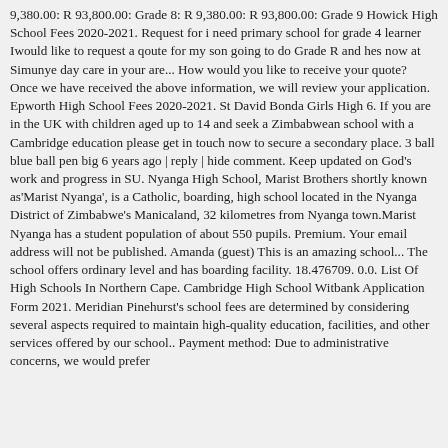9,380.00: R 93,800.00: Grade 8: R 9,380.00: R 93,800.00: Grade 9 Howick High School Fees 2020-2021. Request for i need primary school for grade 4 learner Iwould like to request a qoute for my son going to do Grade R and hes now at Simunye day care in your are... How would you like to receive your quote? Once we have received the above information, we will review your application. Epworth High School Fees 2020-2021. St David Bonda Girls High 6. If you are in the UK with children aged up to 14 and seek a Zimbabwean school with a Cambridge education please get in touch now to secure a secondary place. 3 ball blue ball pen big 6 years ago | reply | hide comment. Keep updated on God's work and progress in SU. Nyanga High School, Marist Brothers shortly known as'Marist Nyanga', is a Catholic, boarding, high school located in the Nyanga District of Zimbabwe's Manicaland, 32 kilometres from Nyanga town.Marist Nyanga has a student population of about 550 pupils. Premium. Your email address will not be published. Amanda (guest) This is an amazing school... The school offers ordinary level and has boarding facility. 18.476709. 0.0. List Of High Schools In Northern Cape. Cambridge High School Witbank Application Form 2021. Meridian Pinehurst's school fees are determined by considering several aspects required to maintain high-quality education, facilities, and other services offered by our school.. Payment method: Due to administrative concerns, we would prefer